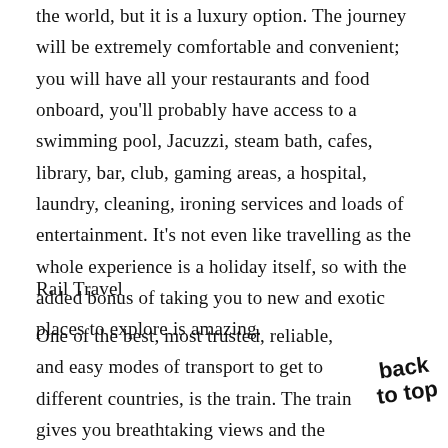the world, but it is a luxury option. The journey will be extremely comfortable and convenient; you will have all your restaurants and food onboard, you'll probably have access to a swimming pool, Jacuzzi, steam bath, cafes, library, bar, club, gaming areas, a hospital, laundry, cleaning, ironing services and loads of entertainment. It's not even like travelling as the whole experience is a holiday itself, so with the added bonus of taking you to new and exotic places to explore is amazing.
Rail Travel
One of the best, most trusted, reliable, and easy modes of transport to get to different countries, is the train. The train gives you breathtaking views and the opportunity to travel through fantastic